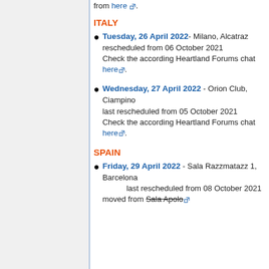from here ↗ .
ITALY
Tuesday, 26 April 2022 - Milano, Alcatraz rescheduled from 06 October 2021 Check the according Heartland Forums chat here.
Wednesday, 27 April 2022 - Orion Club, Ciampino last rescheduled from 05 October 2021 Check the according Heartland Forums chat here.
SPAIN
Friday, 29 April 2022 - Sala Razzmatazz 1, Barcelona last rescheduled from 08 October 2021 moved from Sala Apolo ↗